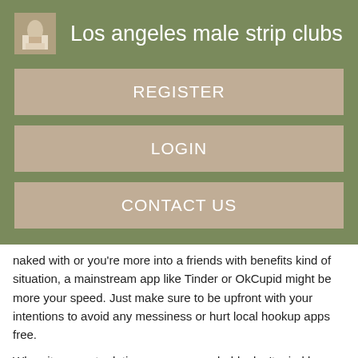Los angeles male strip clubs
REGISTER
LOGIN
CONTACT US
naked with or you're more into a friends with benefits kind of situation, a mainstream app like Tinder or OkCupid might be more your speed. Just make sure to be upfront with your intentions to avoid any messiness or hurt local hookup apps free.
When it comes to dating apps, you probably don't mind long questionnaires or in-depth profiles, but when you're just club wilmington mens spa for a casual hookup, that all seems unnecessary. Sure you want to gauge that you're at least a little